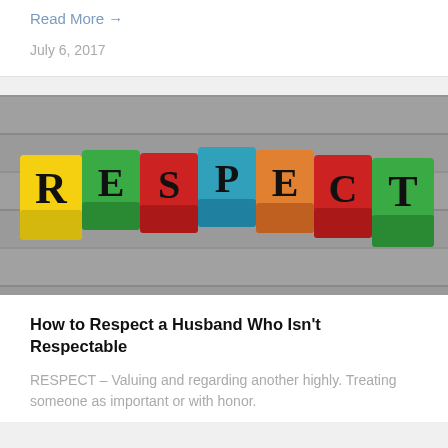Read More →
July 6, 2017
[Figure (photo): Colorful wooden alphabet blocks spelling out the word RESPECT on a wooden surface background]
How to Respect a Husband Who Isn't Respectable
RESPECT – Valuing and regarding another highly. Treating someone as important or with honor.